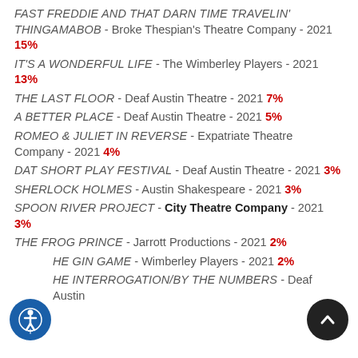FAST FREDDIE AND THAT DARN TIME TRAVELIN' THINGAMABOB - Broke Thespian's Theatre Company - 2021 15%
IT'S A WONDERFUL LIFE - The Wimberley Players - 2021 13%
THE LAST FLOOR - Deaf Austin Theatre - 2021 7%
A BETTER PLACE - Deaf Austin Theatre - 2021 5%
ROMEO & JULIET IN REVERSE - Expatriate Theatre Company - 2021 4%
DAT SHORT PLAY FESTIVAL - Deaf Austin Theatre - 2021 3%
SHERLOCK HOLMES - Austin Shakespeare - 2021 3%
SPOON RIVER PROJECT - City Theatre Company - 2021 3%
THE FROG PRINCE - Jarrott Productions - 2021 2%
THE GIN GAME - Wimberley Players - 2021 2%
THE INTERROGATION/BY THE NUMBERS - Deaf Austin Theatre - 2021 2%